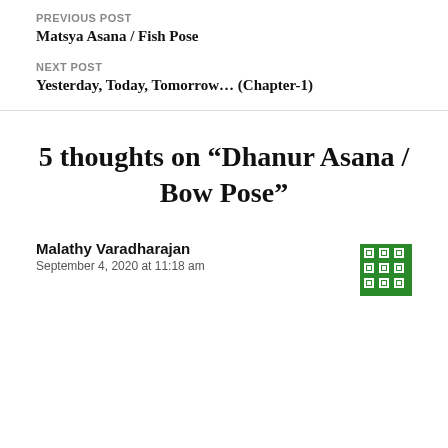PREVIOUS POST
Matsya Asana / Fish Pose
NEXT POST
Yesterday, Today, Tomorrow… (Chapter-1)
5 thoughts on “Dhanur Asana / Bow Pose”
Malathy Varadharajan
September 4, 2020 at 11:18 am